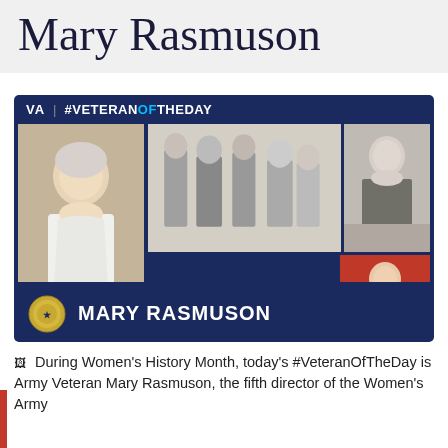Mary Rasmuson
[Figure (infographic): VA #VeteranOfTheDay card for Mary Rasmuson featuring multiple photos of her at different ages and a name bar with Army seal]
During Women's History Month, today's #VeteranOfTheDay is Army Veteran Mary Rasmuson, the fifth director of the Women's Army